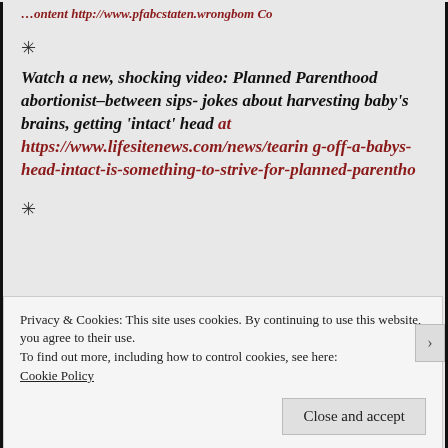…ontent http://www.pfabcstaten.wrongbom Co
*
Watch a new, shocking video: Planned Parenthood abortionist–between sips- jokes about harvesting baby's brains, getting 'intact' head at https://www.lifesitenews.com/news/tearing-off-a-babys-head-intact-is-something-to-strive-for-planned-parentho
*
Privacy & Cookies: This site uses cookies. By continuing to use this website, you agree to their use.
To find out more, including how to control cookies, see here: Cookie Policy
Close and accept